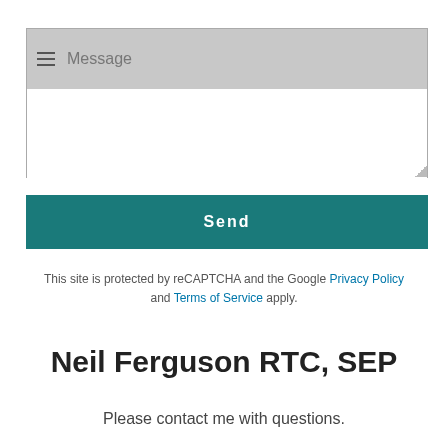[Figure (screenshot): A message textarea input field with a grey header bar containing a hamburger icon and 'Message' placeholder text, followed by a white body area with a resize handle at the bottom right.]
Send
This site is protected by reCAPTCHA and the Google Privacy Policy and Terms of Service apply.
Neil Ferguson RTC, SEP
Please contact me with questions.